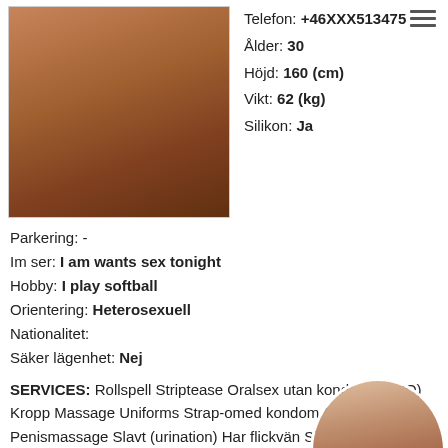[Figure (photo): Cropped photo of a woman's torso in white underwear against a dark background]
Telefon: +46XXX513475
Ålder: 30
Höjd: 160 (cm)
Vikt: 62 (kg)
Silikon: Ja
Parkering: -
Im ser: I am wants sex tonight
Hobby: I play softball
Orientering: Heterosexuell
Nationalitet:
Säker lägenhet: Nej
SERVICES: Rollspell Striptease Oralsex utan kondom (OWO) Kropp Massage Uniforms Strap-on med kondom Pulla Penismassage Slavt (urination) Har flickvän Sitta på ansiktet Prostatemassage Tungkyssar Tortyr Deep i halsen) Duscha tillsammans COB (komma på kroppen)
[Figure (photo): Circular cropped photo of a woman's torso, partially nude]